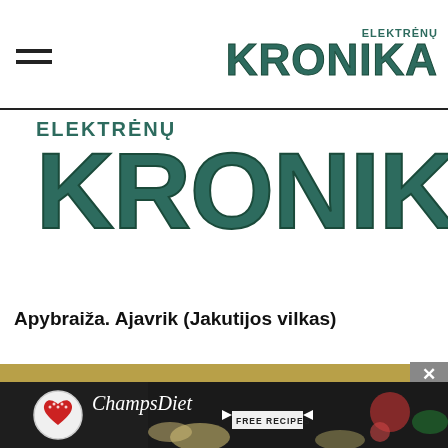ELEKTRĖNŲ KRONIKA
[Figure (logo): Elektrėnų Kronika logo — large teal bold text 'KRONIKA' with 'ELEKTRĖNŲ' above it, displayed in the center of the page]
Apybraiža. Ajavrik (Jakutijos vilkas)
[Figure (photo): Advertisement banner for ChampsDiet showing food items, a badge with US flag heart logo, italic cursive 'ChampsDiet' text, and a 'FREE RECIPES' button, on a dark background with food ingredients]